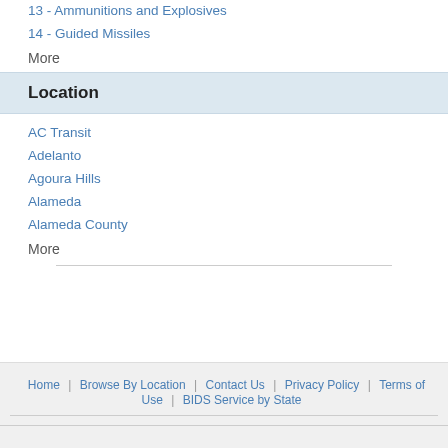13 - Ammunitions and Explosives
14 - Guided Missiles
More
Location
AC Transit
Adelanto
Agoura Hills
Alameda
Alameda County
More
Home | Browse By Location | Contact Us | Privacy Policy | Terms of Use | BIDS Service by State